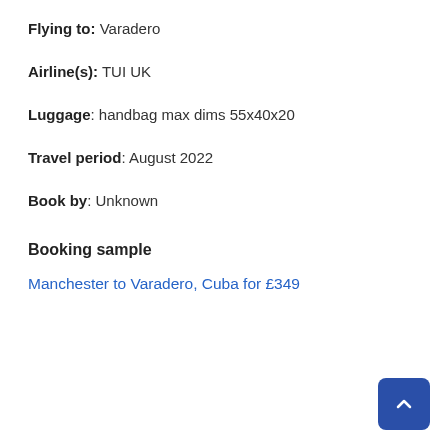Flying to: Varadero
Airline(s): TUI UK
Luggage: handbag max dims 55x40x20
Travel period: August 2022
Book by: Unknown
Booking sample
Manchester to Varadero, Cuba for £349